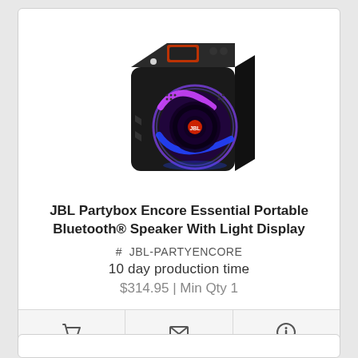[Figure (photo): JBL Partybox Encore Essential portable Bluetooth speaker - black cube-shaped speaker with glowing purple/blue circular light display on the front]
JBL Partybox Encore Essential Portable Bluetooth® Speaker With Light Display
# JBL-PARTYENCORE
10 day production time
$314.95 | Min Qty 1